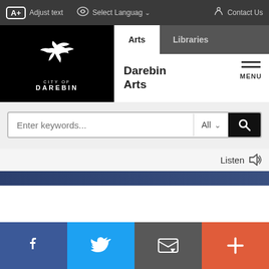A+ Adjust text | Select Language | Contact Us
[Figure (screenshot): Darebin Arts website navigation header with logo, nav tabs (Arts, Libraries), search bar, Listen button, blue band, and social media footer buttons (Facebook, Twitter, Email, Plus)]